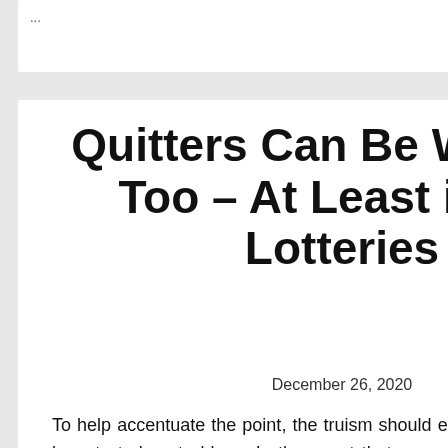...
Quitters Can Be Winners Too – At Least in the Lotteries
December 26, 2020
To help accentuate the point, the truism should end as what you cannot bear to truly set ablaze. In the event that you can hold your betting to where you generally can stand to actually decimate the